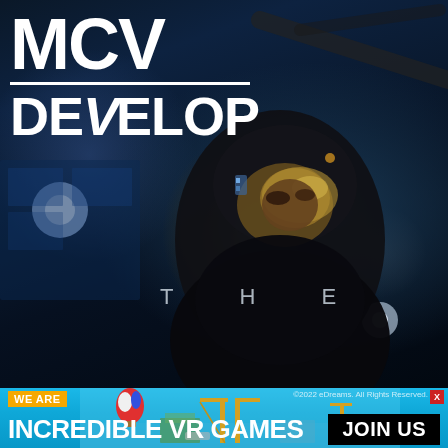[Figure (photo): MCV/Develop magazine cover showing a dark screenshot of a soldier in tactical gear with a gold/amber visor helmet, rain effects, dark blue atmospheric background. The figure is centered-right with dramatic lighting.]
MCV DEVELOP
THE
[Figure (photo): Advertising banner for 'Incredible VR Games' showing a colorful isometric game world with hot air balloon, cranes, buildings on water. Text: WE ARE / INCREDIBLE VR GAMES / JOIN US. Copyright 2022 eDreams. All Rights Reserved.]
WE ARE INCREDIBLE VR GAMES JOIN US
©2022 eDreams. All Rights Reserved.